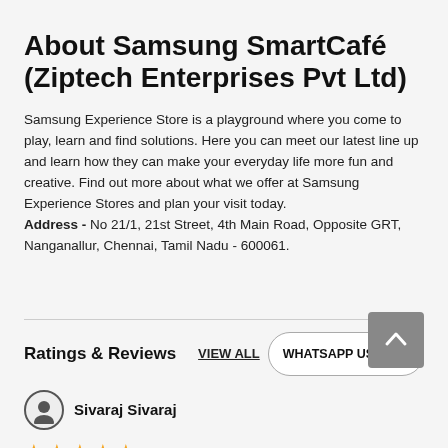About Samsung SmartCafé (Ziptech Enterprises Pvt Ltd)
Samsung Experience Store is a playground where you come to play, learn and find solutions. Here you can meet our latest line up and learn how they can make your everyday life more fun and creative. Find out more about what we offer at Samsung Experience Stores and plan your visit today. Address - No 21/1, 21st Street, 4th Main Road, Opposite GRT, Nanganallur, Chennai, Tamil Nadu - 600061.
Ratings & Reviews
VIEW ALL
WHATSAPP US
Sivaraj Sivaraj
14-05-2022